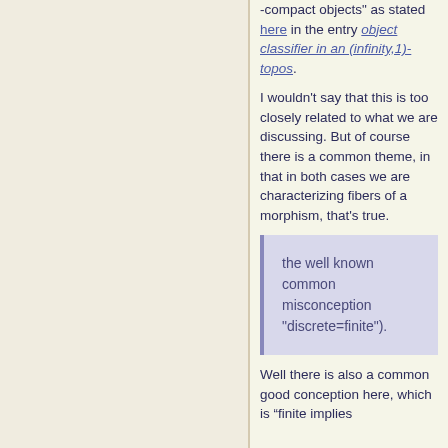-compact objects" as stated here in the entry object classifier in an (infinity,1)-topos.
I wouldn't say that this is too closely related to what we are discussing. But of course there is a common theme, in that in both cases we are characterizing fibers of a morphism, that's true.
the well known common misconception "discrete=finite").
Well there is also a common good conception here, which is "finite implies...